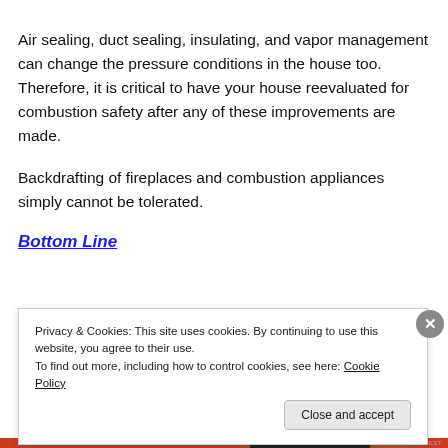Air sealing, duct sealing, insulating, and vapor management can change the pressure conditions in the house too.  Therefore, it is critical to have your house reevaluated for combustion safety after any of these improvements are made.
Backdrafting of fireplaces and combustion appliances simply cannot be tolerated.
Bottom Line
Privacy & Cookies: This site uses cookies. By continuing to use this website, you agree to their use.
To find out more, including how to control cookies, see here: Cookie Policy